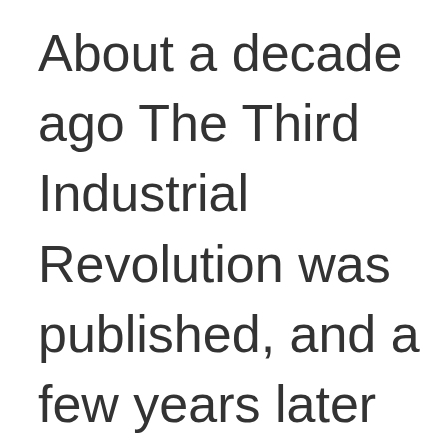About a decade ago The Third Industrial Revolution was published, and a few years later The Zero Marginal